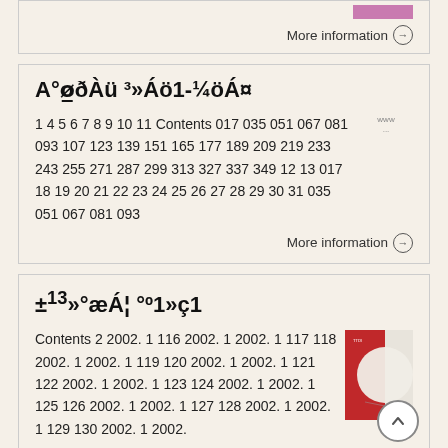More information →
A°ø̧ðÀü ³»Áö1-¼öÁ¤
1 4 5 6 7 8 9 10 11 Contents 017 035 051 067 081 093 107 123 139 151 165 177 189 209 219 233 243 255 271 287 299 313 327 337 349 12 13 017 18 19 20 21 22 23 24 25 26 27 28 29 30 31 035 051 067 081 093
More information →
±¹³»°æÁ¦ °¹»ç1
Contents 2 2002. 1 116 2002. 1 2002. 1 117 118 2002. 1 2002. 1 119 120 2002. 1 2002. 1 121 122 2002. 1 2002. 1 123 124 2002. 1 2002. 1 125 126 2002. 1 2002. 1 127 128 2002. 1 2002. 1 129 130 2002. 1 2002.